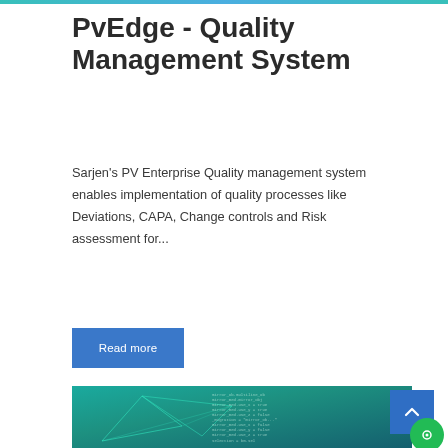PvEdge - Quality Management System
Sarjen’s PV Enterprise Quality management system enables implementation of quality processes like Deviations, CAPA, Change controls and Risk assessment for…
[Figure (other): Blue 'Read more' button]
[Figure (photo): Dark teal/green image showing geometric network lines overlay with code text on a dark background, suggesting software/technology theme]